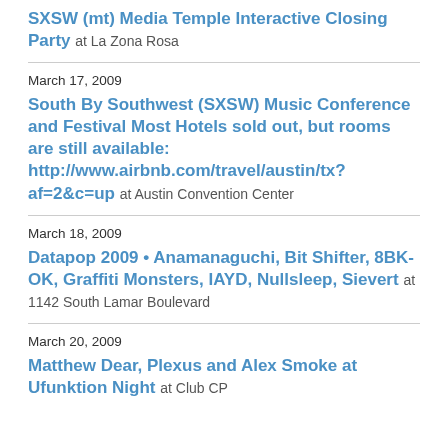SXSW (mt) Media Temple Interactive Closing Party at La Zona Rosa
March 17, 2009
South By Southwest (SXSW) Music Conference and Festival Most Hotels sold out, but rooms are still available: http://www.airbnb.com/travel/austin/tx?af=2&c=up at Austin Convention Center
March 18, 2009
Datapop 2009 • Anamanaguchi, Bit Shifter, 8BK-OK, Graffiti Monsters, IAYD, Nullsleep, Sievert at 1142 South Lamar Boulevard
March 20, 2009
Matthew Dear, Plexus and Alex Smoke at Ufunktion Night at Club CP